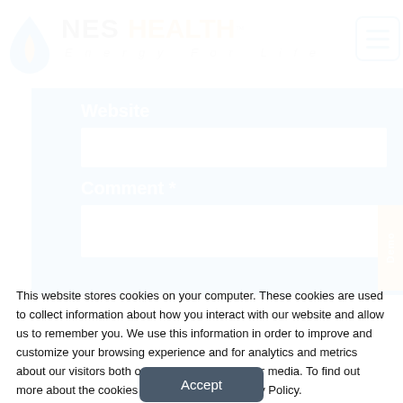[Figure (logo): NES Health logo with droplet icon and 'Energy For Life' tagline]
Website
[Figure (screenshot): Blue form section with Website label and input field, Comment label and textarea]
Comment *
This website stores cookies on your computer. These cookies are used to collect information about how you interact with our website and allow us to remember you. We use this information in order to improve and customize your browsing experience and for analytics and metrics about our visitors both on this website and other media. To find out more about the cookies we use, see our Privacy Policy.
Accept